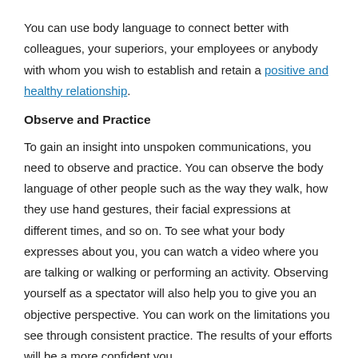You can use body language to connect better with colleagues, your superiors, your employees or anybody with whom you wish to establish and retain a positive and healthy relationship.
Observe and Practice
To gain an insight into unspoken communications, you need to observe and practice. You can observe the body language of other people such as the way they walk, how they use hand gestures, their facial expressions at different times, and so on. To see what your body expresses about you, you can watch a video where you are talking or walking or performing an activity. Observing yourself as a spectator will also help you to give you an objective perspective. You can work on the limitations you see through consistent practice. The results of your efforts will be a more confident you.
Related Article…